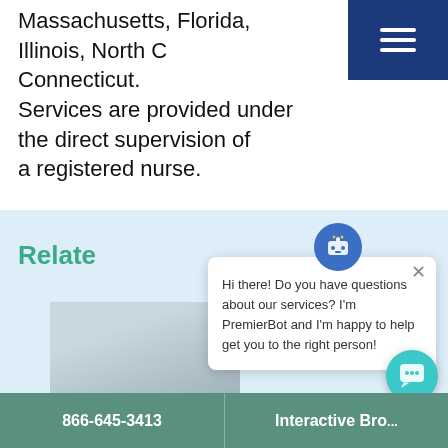Massachusetts, Florida, Illinois, North Carolina, Connecticut.
Services are provided under the direct supervision of a registered nurse.
[Figure (screenshot): Chatbot popup window with robot icon, close button, and message: Hi there! Do you have questions about our services? I'm PremierBot and I'm happy to help get you to the right person!]
Relate...
[Figure (photo): Partial photo of an elderly person in the lower portion of the page]
866-645-3413   Interactive Bro...